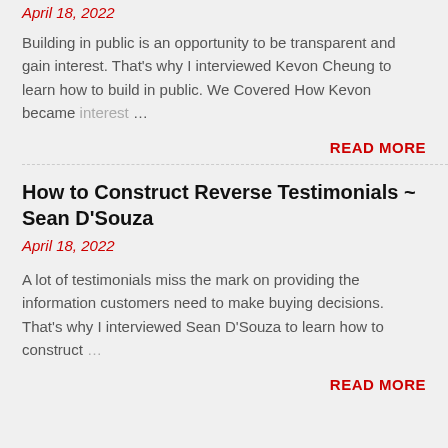April 18, 2022
Building in public is an opportunity to be transparent and gain interest. That's why I interviewed Kevon Cheung to learn how to build in public. We Covered How Kevon became interest…
READ MORE
How to Construct Reverse Testimonials ~ Sean D'Souza
April 18, 2022
A lot of testimonials miss the mark on providing the information customers need to make buying decisions. That's why I interviewed Sean D'Souza to learn how to construct…
READ MORE